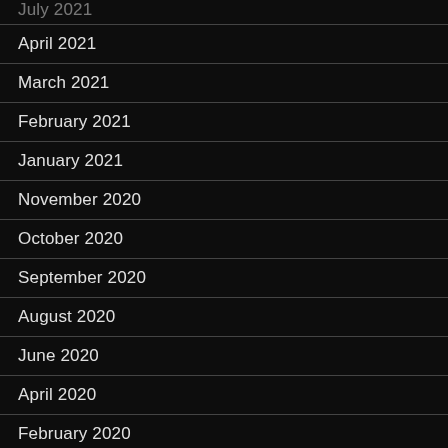July 2021
April 2021
March 2021
February 2021
January 2021
November 2020
October 2020
September 2020
August 2020
June 2020
April 2020
February 2020
January 2020